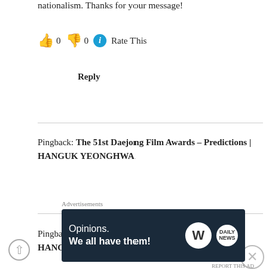nationalism. Thanks for your message!
👍 0 👎 0 ℹ Rate This
Reply
Pingback: The 51st Daejong Film Awards – Predictions | HANGUK YEONGHWA
Pingback: The 51st Daejong Film Awards – Results | HANGUK
[Figure (other): WordPress advertisement banner: 'Opinions. We all have them!' with WordPress and another logo on dark background]
Advertisements
REPORT THIS AD